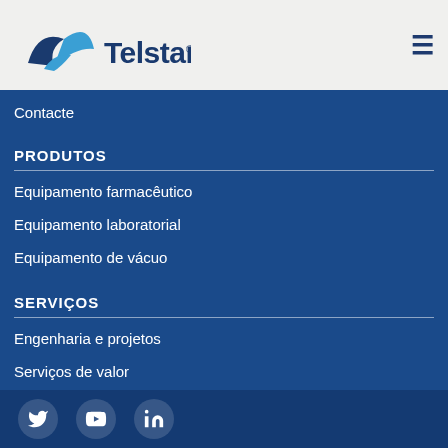[Figure (logo): Telstar company logo with blue bird/star icon and Telstar text in dark blue]
Contacte
PRODUTOS
Equipamento farmacêutico
Equipamento laboratorial
Equipamento de vácuo
SERVIÇOS
Engenharia e projetos
Serviços de valor
[Figure (infographic): Social media icons: Twitter, YouTube, LinkedIn in circular white frames on dark blue footer bar]